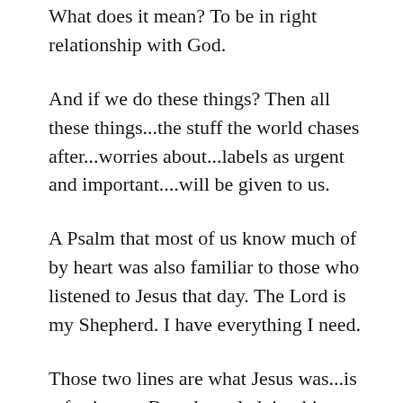What does it mean? To be in right relationship with God.
And if we do these things? Then all these things...the stuff the world chases after...worries about...labels as urgent and important....will be given to us.
A Psalm that most of us know much of by heart was also familiar to those who listened to Jesus that day. The Lord is my Shepherd. I have everything I need.
Those two lines are what Jesus was...is referring to. By acknowledging his Lordship, we declare whose Kingdom we are a part of. Identifying him as our Shepherd, we declare our...